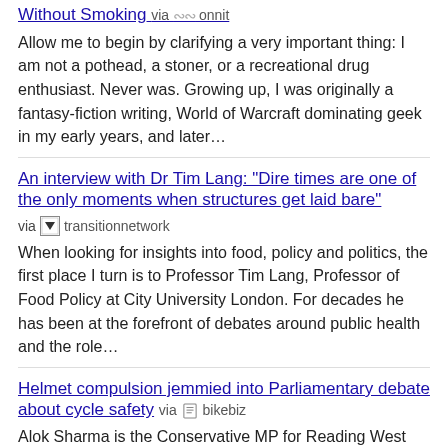Without Smoking via onnit
Allow me to begin by clarifying a very important thing: I am not a pothead, a stoner, or a recreational drug enthusiast. Never was. Growing up, I was originally a fantasy-fiction writing, World of Warcraft dominating geek in my early years, and later…
An interview with Dr Tim Lang: "Dire times are one of the only moments when structures get laid bare"
via transitionnetwork
When looking for insights into food, policy and politics, the first place I turn is to Professor Tim Lang, Professor of Food Policy at City University London.  For decades he has been at the forefront of debates around public health and the role…
Helmet compulsion jemmied into Parliamentary debate about cycle safety via bikebiz
Alok Sharma is the Conservative MP for Reading West and yesterday secured a long debate in Parliament about cycle safety. He cycles, knows the subject of cycle helmet